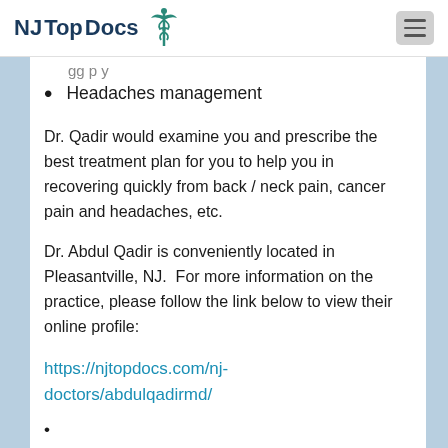NJ Top Docs
Headaches management
Dr. Qadir would examine you and prescribe the best treatment plan for you to help you in recovering quickly from back / neck pain, cancer pain and headaches, etc.
Dr. Abdul Qadir is conveniently located in Pleasantville, NJ.  For more information on the practice, please follow the link below to view their online profile:
https://njtopdocs.com/nj-doctors/abdulqadirmd/